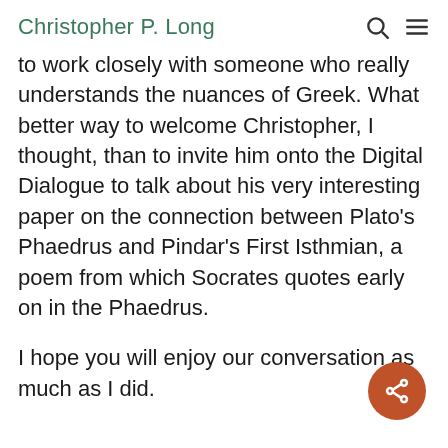Christopher P. Long
to work closely with someone who really understands the nuances of Greek. What better way to welcome Christopher, I thought, than to invite him onto the Digital Dialogue to talk about his very interesting paper on the connection between Plato's Phaedrus and Pindar's First Isthmian, a poem from which Socrates quotes early on in the Phaedrus.
I hope you will enjoy our conversation as much as I did.